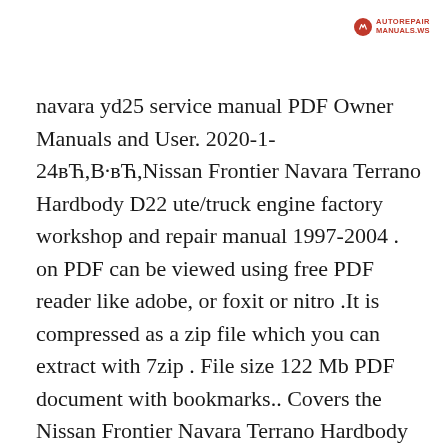AUTOREPAIRMANUALS.ws logo
navara yd25 service manual PDF Owner Manuals and User. 2020-1-24вЋ,В·вЋ,Nissan Frontier Navara Terrano Hardbody D22 ute/truck engine factory workshop and repair manual 1997-2004 . on PDF can be viewed using free PDF reader like adobe, or foxit or nitro .It is compressed as a zip file which you can extract with 7zip . File size 122 Mb PDF document with bookmarks.. Covers the Nissan Frontier Navara Terrano Hardbody D22 Workshop Manual Nissan Navara D22.pdf - Free download Ebook, Handbook, Textbook, User Guide PDF files on the internet quickly and easily. Download: Workshop Manual Nissan